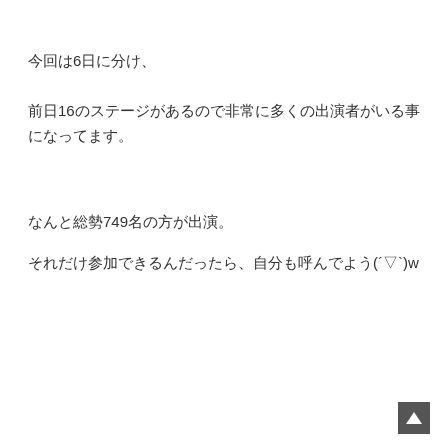今回は6日に分け、
前日16のステージがあるので非常に多くの出演者がいる事になってます。
なんと総勢749名の方が出演。
それだけ参加できるんだったら、自分も呼んでよう(´▽`)w